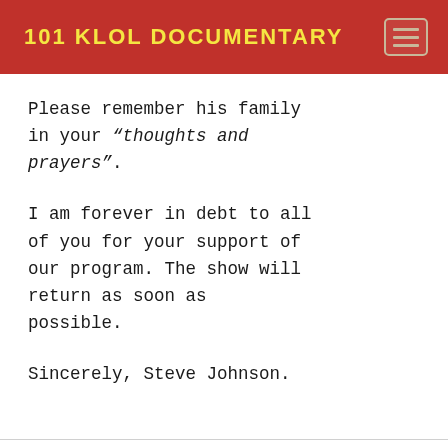101 KLOL DOCUMENTARY
Please remember his family in your "“thoughts and prayers”".
I am forever in debt to all of you for your support of our program. The show will return as soon as possible.
Sincerely, Steve Johnson.